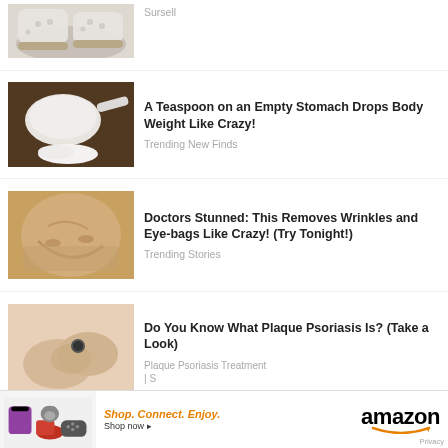[Figure (photo): White lace sneakers/shoes on feet, close-up]
Sursell
[Figure (photo): A measuring scoop with white powder on a wooden background]
A Teaspoon on an Empty Stomach Drops Body Weight Like Crazy!
Trending New Finds
[Figure (photo): Close-up of a face with cream or face mask applied, anti-wrinkle treatment]
Doctors Stunned: This Removes Wrinkles and Eye-bags Like Crazy! (Try Tonight!)
Trending Stories
[Figure (photo): Hands with skin condition showing a dark spot, plaque psoriasis]
Do You Know What Plaque Psoriasis Is? (Take a Look)
Plaque Psoriasis Treatment
| S
[Figure (photo): Dark background with golden eagle logo / Camp Lejeune related image]
Congress Finally Passes Billions for Camp Lejeune Families
[Figure (photo): Amazon advertisement banner showing products]
Shop. Connect. Enjoy. Shop now ▸
amazon
Privacy